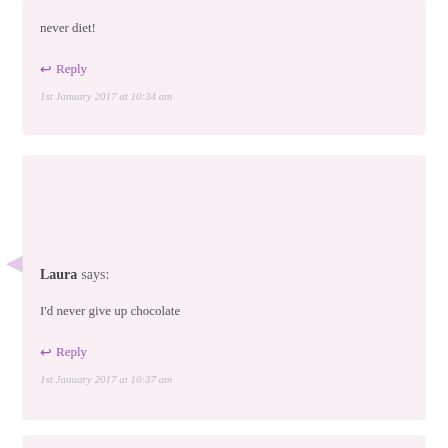never diet!
↩ Reply
1st January 2017 at 10:34 am
Laura says:
I'd never give up chocolate
↩ Reply
1st January 2017 at 10:37 am